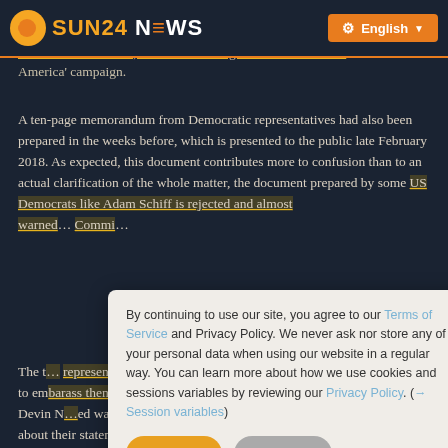SUN24 NEWS
attempted instrumentalisation of it, a more detailed comment on the matter explicitly sent on ... 2018 to John Podesta, the former manager of the 'Clinton for America' campaign.
A ten-page memorandum from Democratic representatives had also been prepared in the weeks before, which is presented to the public late February 2018. As expected, this document contributes more to confusion than to an actual clarification of the whole matter, the document prepared by some US Democrats like Adam Schiff is rejected and almost warned... Committee...
[Figure (screenshot): Cookie consent popup overlay on Sun24 News website. Text reads: 'By continuing to use our site, you agree to our Terms of Service and Privacy Policy. We never ask nor store any of your personal data when using our website in a regular way. You can learn more about how we use cookies and sessions variables by reviewing our Privacy Policy. (→ Session variables)' with Agree and Reject buttons.]
The Trump representatives meanwhile continue to embarrass themselves and are slandering chief investigator Devin Nunes in such a way that one can not just laugh about their statements any longer.